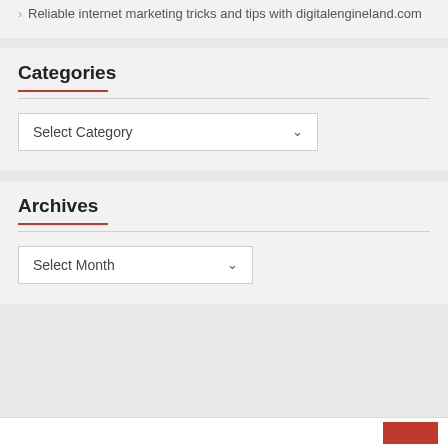Reliable internet marketing tricks and tips with digitalengineland.com
Categories
Select Category
Archives
Select Month